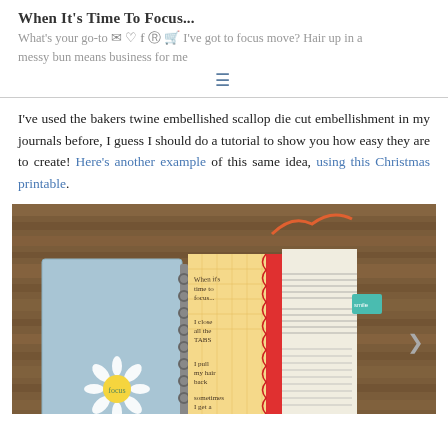When It's Time To Focus...
What's your go-to 'I've got to focus' move? Hair up in a messy bun means business for me
[Figure (photo): A photo of open spiral-bound journals/notebooks with colorful decorative pages and tabs, placed on a wooden surface. The journal pages show handwritten text.]